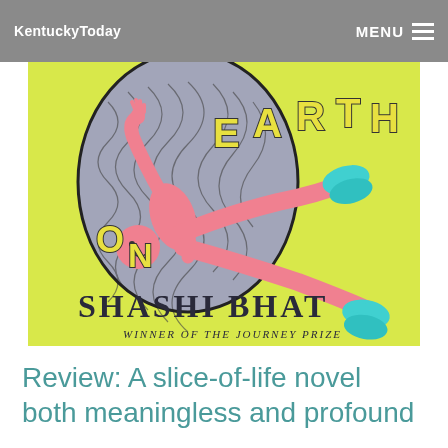KentuckyToday   MENU
[Figure (illustration): Book cover illustration for 'On Earth' by Shashi Bhat. A person with pink skin and pink pants wearing cyan/turquoise shoes falls through a swirling blue and black psychedelic pattern against a yellow-green background. Large bold yellow letters spell 'ON EARTH' and below in large dark serif font 'SHASHI BHAT' with 'WINNER OF THE JOURNEY PRIZE' in smaller handwritten-style text beneath.]
Review: A slice-of-life novel both meaningless and profound